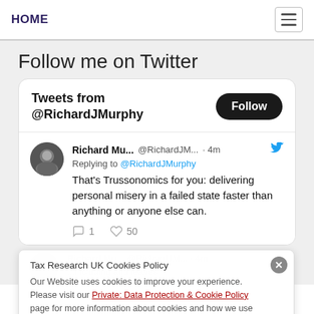HOME
Follow me on Twitter
Tweets from @RichardJMurphy
Richard Mu... @RichardJM... · 4m
Replying to @RichardJMurphy
That's Trussonomics for you: delivering personal misery in a failed state faster than anything or anyone else can.
1  50
Tax Research UK Cookies Policy
Our Website uses cookies to improve your experience. Please visit our Private: Data Protection & Cookie Policy page for more information about cookies and how we use them.